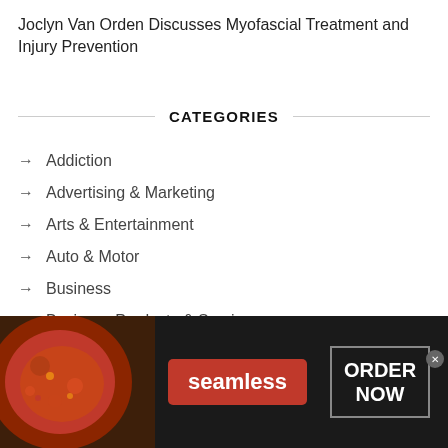Joclyn Van Orden Discusses Myofascial Treatment and Injury Prevention
CATEGORIES
Addiction
Advertising & Marketing
Arts & Entertainment
Auto & Motor
Business
Business Products & Services
CBD
Children's Health
Chiropractic
Clothing & Fashion
[Figure (infographic): Seamless food delivery advertisement banner with pizza image on left, red Seamless logo button in center, and ORDER NOW button on right with close X button]